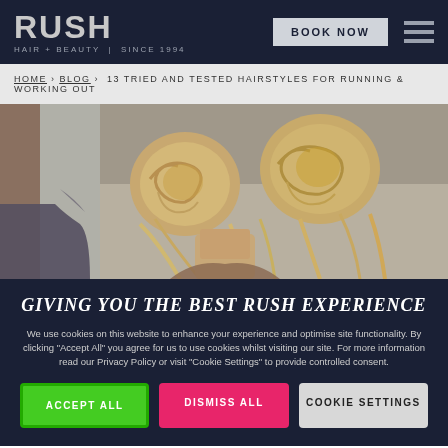RUSH HAIR + BEAUTY | SINCE 1994 — BOOK NOW
HOME › BLOG › 13 TRIED AND TESTED HAIRSTYLES FOR RUNNING & WORKING OUT
[Figure (photo): Close-up photo of a person with blonde hair styled into two space buns / double bun hairstyle, seen from behind]
GIVING YOU THE BEST RUSH EXPERIENCE
We use cookies on this website to enhance your experience and optimise site functionality. By clicking "Accept All" you agree for us to use cookies whilst visiting our site. For more information read our Privacy Policy or visit "Cookie Settings" to provide controlled consent.
ACCEPT ALL
DISMISS ALL
COOKIE SETTINGS